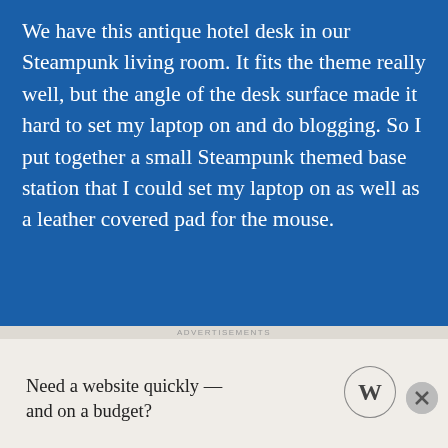We have this antique hotel desk in our Steampunk living room. It fits the theme really well, but the angle of the desk surface made it hard to set my laptop on and do blogging. So I put together a small Steampunk themed base station that I could set my laptop on as well as a leather covered pad for the mouse.
[Figure (photo): Photo of a laptop computer open on a dark wooden Steampunk-style desk station, with a small tablet mounted above the screen, wooden shelving visible in the background]
Need a website quickly — and on a budget?